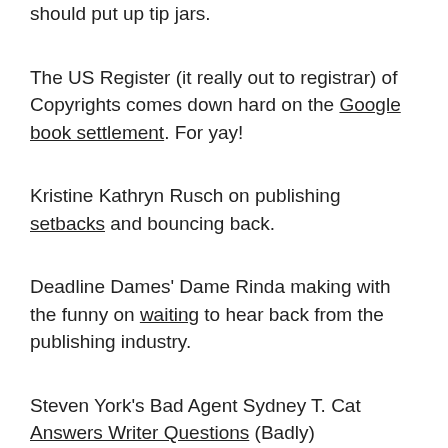should put up tip jars.
The US Register (it really out to registrar) of Copyrights comes down hard on the Google book settlement. For yay!
Kristine Kathryn Rusch on publishing setbacks and bouncing back.
Deadline Dames' Dame Rinda making with the funny on waiting to hear back from the publishing industry.
Steven York's Bad Agent Sydney T. Cat Answers Writer Questions (Badly)
Fred Pohl on Writers of the Future